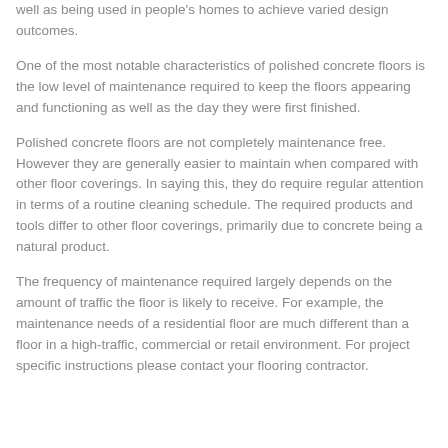well as being used in people's homes to achieve varied design outcomes.
One of the most notable characteristics of polished concrete floors is the low level of maintenance required to keep the floors appearing and functioning as well as the day they were first finished.
Polished concrete floors are not completely maintenance free. However they are generally easier to maintain when compared with other floor coverings. In saying this, they do require regular attention in terms of a routine cleaning schedule. The required products and tools differ to other floor coverings, primarily due to concrete being a natural product.
The frequency of maintenance required largely depends on the amount of traffic the floor is likely to receive. For example, the maintenance needs of a residential floor are much different than a floor in a high-traffic, commercial or retail environment. For project specific instructions please contact your flooring contractor.